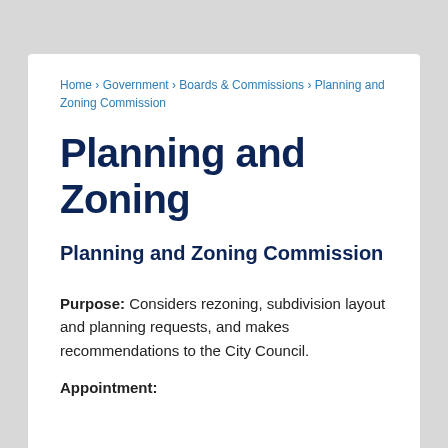Home › Government › Boards & Commissions › Planning and Zoning Commission
Planning and Zoning
Planning and Zoning Commission
Purpose: Considers rezoning, subdivision layout and planning requests, and makes recommendations to the City Council.